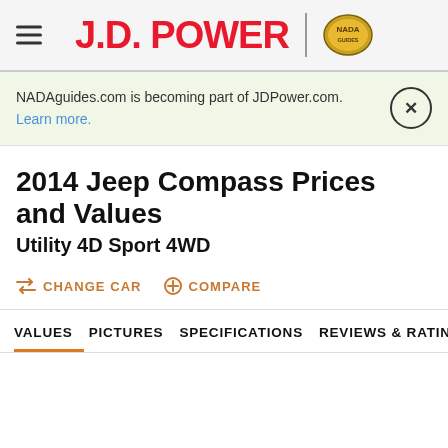J.D. POWER | NADA Guides
NADAguides.com is becoming part of JDPower.com. Learn more.
2014 Jeep Compass Prices and Values
Utility 4D Sport 4WD
CHANGE CAR
COMPARE
VALUES  PICTURES  SPECIFICATIONS  REVIEWS & RATINGS